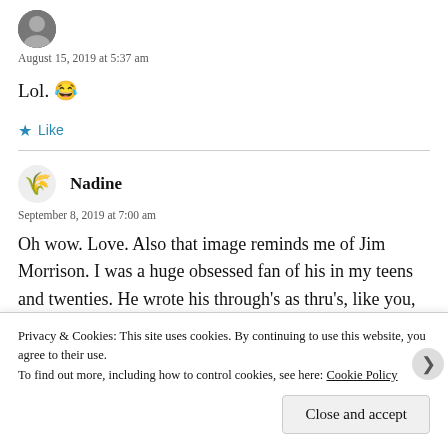[Figure (photo): Small circular avatar image of a user]
August 15, 2019 at 5:37 am
Lol. 😂
Like
Nadine
September 8, 2019 at 7:00 am
Oh wow. Love. Also that image reminds me of Jim Morrison. I was a huge obsessed fan of his in my teens and twenties. He wrote his through's as thru's, like you, Watt. That poetry book had a name it called The New Creature. I missed his
Privacy & Cookies: This site uses cookies. By continuing to use this website, you agree to their use. To find out more, including how to control cookies, see here: Cookie Policy
Close and accept